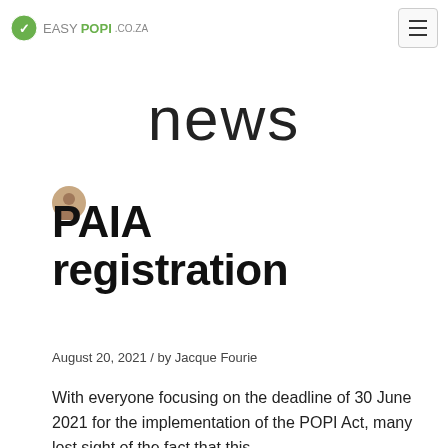EASYPOPI.CO.ZA
news
[Figure (photo): Circular avatar photo of author Jacque Fourie]
PAIA registration
August 20, 2021 / by Jacque Fourie
With everyone focusing on the deadline of 30 June 2021 for the implementation of the POPI Act, many lost sight of the fact that this